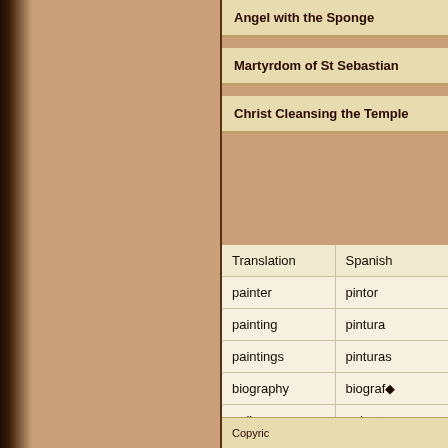Angel with the Sponge
Martyrdom of St Sebastian
Christ Cleansing the Temple
| Translation | Spanish |
| --- | --- |
| painter | pintor |
| painting | pintura |
| paintings | pinturas |
| biography | biografía |
| gallery | galería |
Copyrig